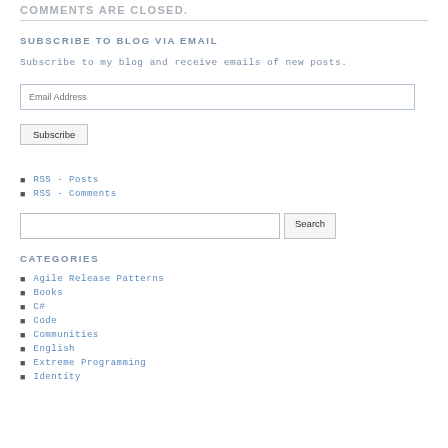COMMENTS ARE CLOSED.
SUBSCRIBE TO BLOG VIA EMAIL
Subscribe to my blog and receive emails of new posts.
RSS - Posts
RSS - Comments
CATEGORIES
Agile Release Patterns
Books
C#
Code
Communities
English
Extreme Programming
Identity